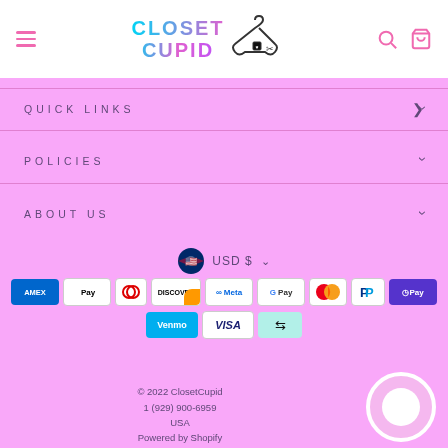[Figure (logo): Closet Cupid logo with colorful gradient text and hanger/scissors icon]
QUICK LINKS
POLICIES
ABOUT US
USD $
[Figure (other): Payment method icons: Amex, Apple Pay, Diners, Discover, Meta, Google Pay, Mastercard, PayPal, OPay, Venmo, Visa, Afterpay]
© 2022 ClosetCupid
1 (929) 900-6959
USA
Powered by Shopify